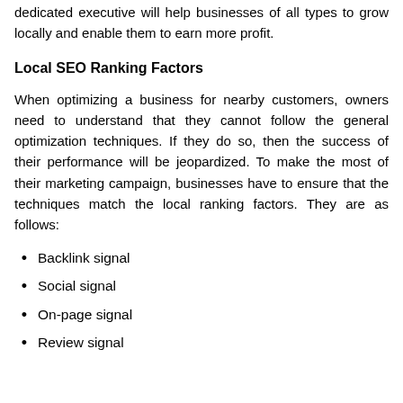dedicated executive will help businesses of all types to grow locally and enable them to earn more profit.
Local SEO Ranking Factors
When optimizing a business for nearby customers, owners need to understand that they cannot follow the general optimization techniques. If they do so, then the success of their performance will be jeopardized. To make the most of their marketing campaign, businesses have to ensure that the techniques match the local ranking factors. They are as follows:
Backlink signal
Social signal
On-page signal
Review signal